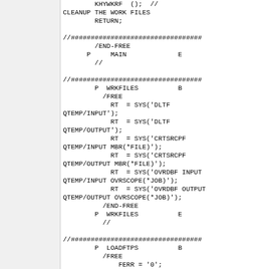Code listing showing RPG/CL program code with CLEANUP, WRKFILES, and LOADFTPS procedures including SYS() calls for DLTF, CRTSRCPF, and OVRDBF commands